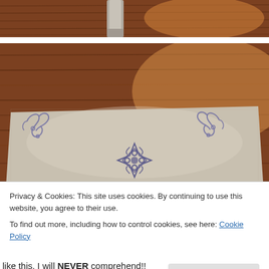[Figure (photo): Top portion of a painted decorative table on a hardwood floor, showing a table leg in gray/white chalk paint against warm wood flooring.]
[Figure (photo): Close-up top view of a chalk-painted table with decorative stenciled motifs — scrollwork in corners and a floral/medallion design in the center, set on a hardwood floor.]
Privacy & Cookies: This site uses cookies. By continuing to use this website, you agree to their use.
To find out more, including how to control cookies, see here: Cookie Policy
like this, I will NEVER comprehend!!